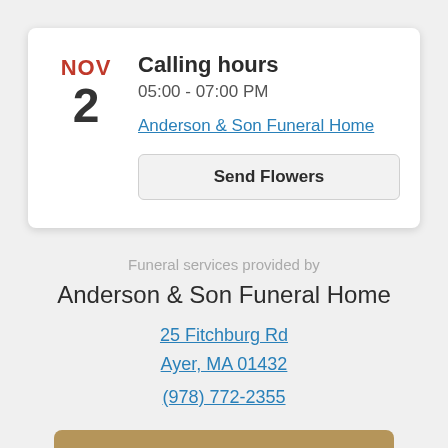NOV 2 — Calling hours, 05:00 - 07:00 PM
Anderson & Son Funeral Home
Send Flowers
Funeral services provided by
Anderson & Son Funeral Home
25 Fitchburg Rd
Ayer, MA 01432
(978) 772-2355
Send Flowers